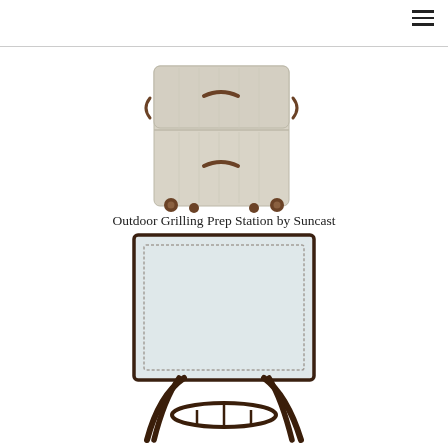[Figure (photo): Outdoor grilling prep station by Suncast - a beige/tan plastic rolling cabinet with two compartments and dark bronze handles and casters]
Outdoor Grilling Prep Station by Suncast
[Figure (photo): Dark bronze/espresso metal patio bar-height bistro table with glass top, curved legs, and lower shelf/footrest ring]